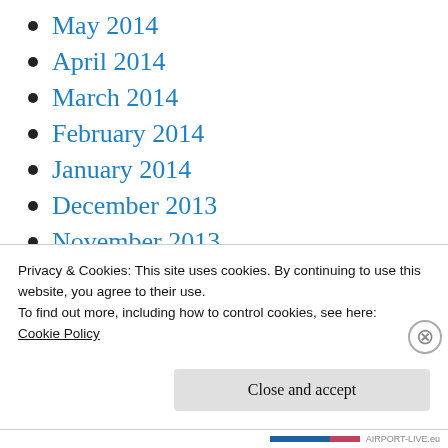May 2014
April 2014
March 2014
February 2014
January 2014
December 2013
November 2013
October 2013
September 2013
August 2013
July 2013
Privacy & Cookies: This site uses cookies. By continuing to use this website, you agree to their use.
To find out more, including how to control cookies, see here:
Cookie Policy
Close and accept